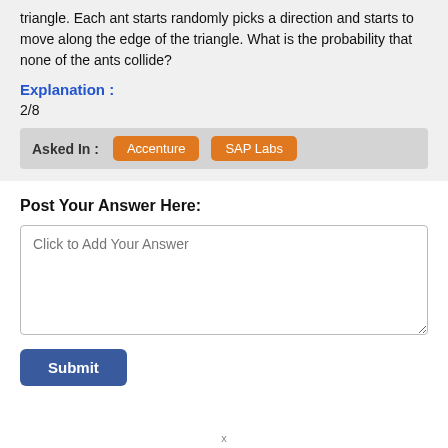triangle. Each ant starts randomly picks a direction and starts to move along the edge of the triangle. What is the probability that none of the ants collide?
Explanation :
2/8
Asked In : Accenture SAP Labs
Post Your Answer Here:
Click to Add Your Answer
Submit
x